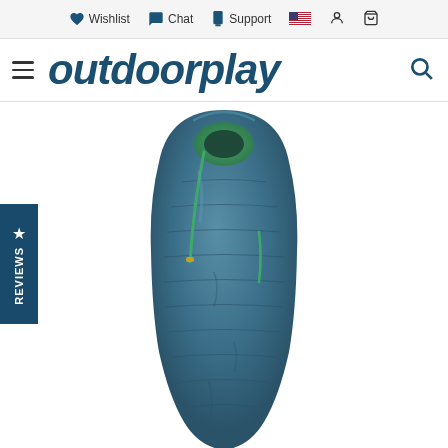Wishlist  Chat  Support
[Figure (logo): outdoorplay logo in dark teal italic bold font with hamburger menu and search icon]
[Figure (photo): Mummy-style sleeping bag in teal/steel blue color with green zipper accents, shown from above on white background]